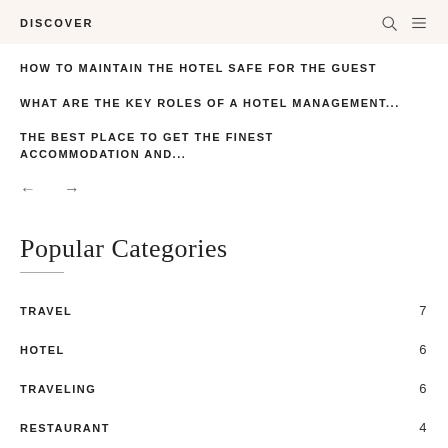DISCOVER
HOW TO MAINTAIN THE HOTEL SAFE FOR THE GUEST
WHAT ARE THE KEY ROLES OF A HOTEL MANAGEMENT...
THE BEST PLACE TO GET THE FINEST ACCOMMODATION AND...
Popular Categories
TRAVEL 7
HOTEL 6
TRAVELING 6
RESTAURANT 4
TRAVEL TIPS 3